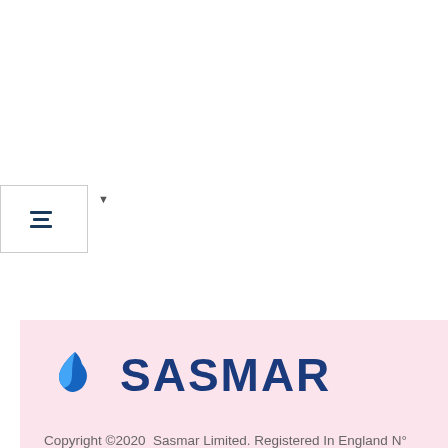[Figure (screenshot): Filter/sort button bar with horizontal sliders icon and dropdown arrow]
[Figure (logo): Sasmar logo with blue droplet icon and SASMAR text in dark blue on pink background]
Copyright ©2020  Sasmar Limited. Registered In England N° 6966600. VAT GB100 1117 08
[Figure (logo): Trustpilot logo with green star and 'Trustpilot' text followed by 4 green star rating boxes and 1 gray star box]
Customer Service